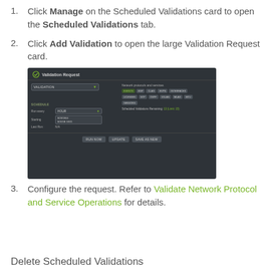Click Manage on the Scheduled Validations card to open the Scheduled Validations tab.
Click Add Validation to open the large Validation Request card.
[Figure (screenshot): Screenshot of the Validation Request UI dialog showing a dark-themed form with VALIDATION dropdown, network protocol tags (EVENTS, BGP, CLAG, EVPN, INTERFACES, LICENSES, NTP, OSPF, VXLAN, MLAG, MTU, SENSORS), schedule section with Run every HOUR dropdown, Starting and Last Run fields, Scheduled Validations Remaining count, and buttons RUN NOW, UPDATE, SAVE AS NEW at the bottom.]
Configure the request. Refer to Validate Network Protocol and Service Operations for details.
Delete Scheduled Validations